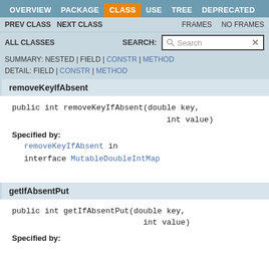OVERVIEW  PACKAGE  CLASS  USE  TREE  DEPRECATED
PREV CLASS  NEXT CLASS  FRAMES  NO FRAMES
ALL CLASSES  SEARCH:
SUMMARY: NESTED | FIELD | CONSTR | METHOD  DETAIL: FIELD | CONSTR | METHOD
removeKeyIfAbsent
Specified by:
removeKeyIfAbsent in interface MutableDoubleIntMap
getIfAbsentPut
Specified by: